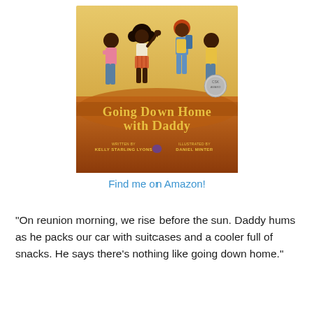[Figure (illustration): Book cover of 'Going Down Home with Daddy' — illustrated children's book showing four children in a golden field. Title text reads 'Going Down Home with Daddy'. Written by Kelly Starling Lyons, Illustrated by Daniel Minter. A Coretta Scott King award medallion is visible.]
Find me on Amazon!
“On reunion morning, we rise before the sun. Daddy hums as he packs our car with suitcases and a cooler full of snacks. He says there’s nothing like going down home.”